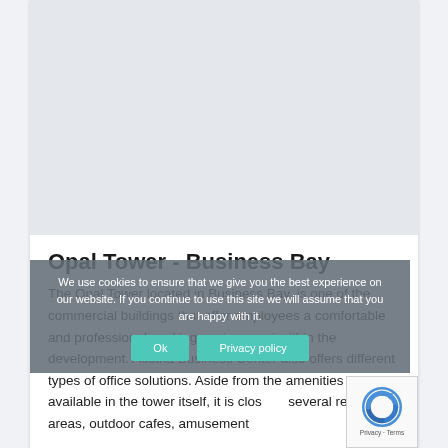[Figure (photo): Large image placeholder area at the top of a white content card, light grey/blue background]
Opal Tower - Business Bay
The Opal Tower located in Business Bay, is one of the commercial buildings that offer employees a comfortable and professional working environment within the development. Austria Business Center also offers different types of office solutions. Aside from the amenities already available in the tower itself, it is close to several residential areas, outdoor cafes, amusement
We use cookies to ensure that we give you the best experience on our website. If you continue to use this site we will assume that you are happy with it.